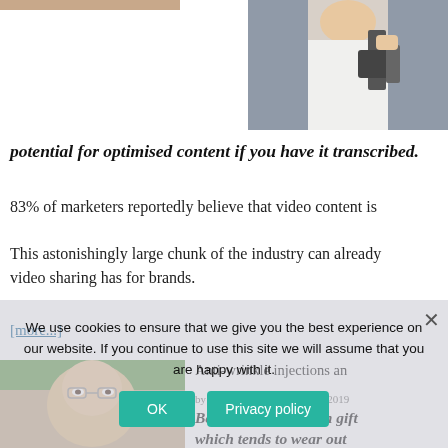[Figure (photo): Partial top strip of a photo, cropped at top]
[Figure (photo): Person holding a camera/gimbal on the right side]
potential for optimised content if you have it transcribed.
83% of marketers reportedly believe that video content is
This astonishingly large chunk of the industry can already video sharing has for brands.
[more...]
[Figure (photo): Woman's face close-up with green and skin-tone background]
Anti-wrinkle injections an
by Will Corry on October 30, 2019
Beauty is a god-given gift which tends to wear out
We use cookies to ensure that we give you the best experience on our website. If you continue to use this site we will assume that you are happy with it.